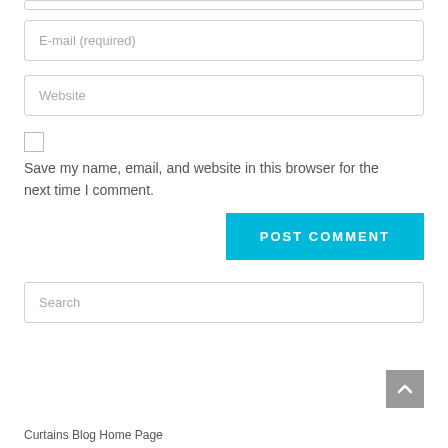[Figure (screenshot): Partial view of a web comment form showing a Name (required) input field at the top (truncated), an E-mail (required) input field, a Website input field, a checkbox with label 'Save my name, email, and website in this browser for the next time I comment.', a POST COMMENT button (cyan/blue), a Search input field, a scroll-to-top button, and a 'Curtains Blog Home Page' footer link.]
E-mail (required)
Website
Save my name, email, and website in this browser for the next time I comment.
POST COMMENT
Search
Curtains Blog Home Page